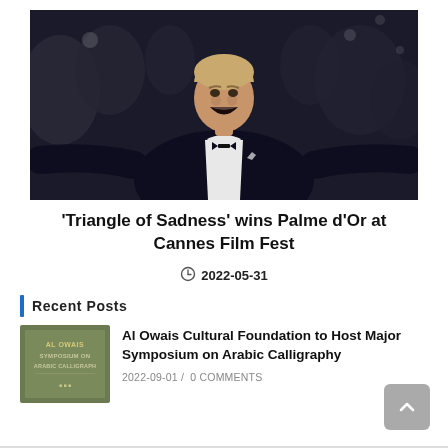[Figure (photo): Man in dark tuxedo with bow tie, arms spread wide, laughing/celebrating, crowd in background at what appears to be a film festival red carpet event.]
‘Triangle of Sadness’ wins Palme d’Or at Cannes Film Fest
2022-05-31
Recent Posts
[Figure (photo): Green/olive colored book or poster cover with text: AL OWAIS SYMPOSIUM ON ARABIC CALLIGRAPH (partially visible), with additional text below.]
Al Owais Cultural Foundation to Host Major Symposium on Arabic Calligraphy
2022-09-01 /  0 COMMENTS